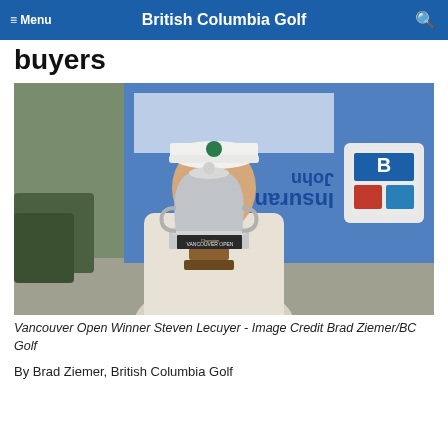≡ Menu   British Columbia Golf   🔍
buyers
[Figure (photo): Man in white polo shirt and white cap smiling and holding a large silver trophy cup. Background shows a blue and white banner reading 'John Insurance' (partially visible) and a red/white/blue logo. Outdoor setting with green shrubbery.]
Vancouver Open Winner Steven Lecuyer - Image Credit Brad Ziemer/BC Golf
By Brad Ziemer, British Columbia Golf